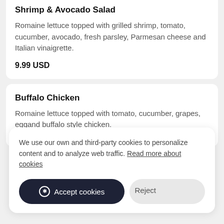Shrimp & Avocado Salad
Romaine lettuce topped with grilled shrimp, tomato, cucumber, avocado, fresh parsley, Parmesan cheese and Italian vinaigrette.
9.99 USD
Buffalo Chicken
Romaine lettuce topped with tomato, cucumber, grapes, eggand buffalo style chicken.
We use our own and third-party cookies to personalize content and to analyze web traffic. Read more about cookies